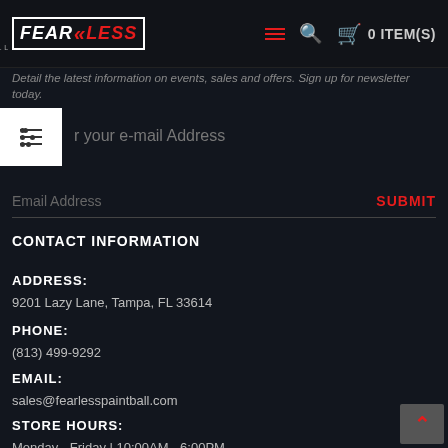FEARLESS PAINTBALL - 0 ITEM(S)
Detail the latest information on events, sales and offers. Sign up for newsletter today.
Enter your e-mail Address
Email Address   SUBMIT
CONTACT INFORMATION
ADDRESS:
9201 Lazy Lane, Tampa, FL 33614
PHONE:
(813) 499-9292
EMAIL:
sales@fearlesspaintball.com
STORE HOURS:
Monday - Friday | 10:00AM - 6:00PM